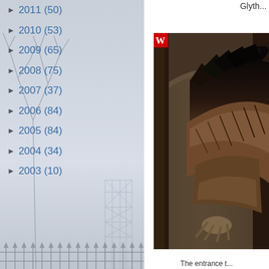► 2011 (50)
► 2010 (53)
► 2009 (65)
► 2008 (75)
► 2007 (37)
► 2006 (84)
► 2005 (84)
► 2004 (34)
► 2003 (10)
[Figure (photo): Misty scene with bare trees and a metal scaffolding tower structure, with iron fence at bottom]
[Figure (photo): Bronze eagle or bird statue with spread wings in an arched stone doorway, appears to be at a wizarding world attraction]
The entrance t...